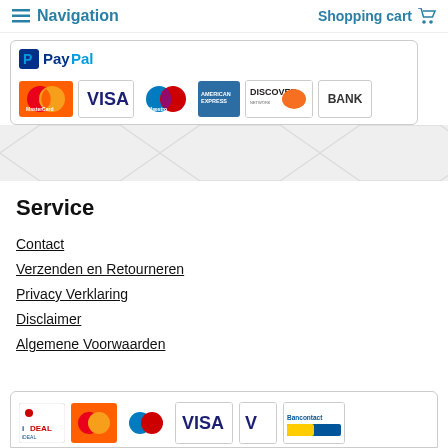Navigation  Shopping cart
[Figure (logo): PayPal payment methods box showing PayPal logo and payment icons: MasterCard, VISA, Maestro, American Express, Discover, BANK]
Service
Contact
Verzenden en Retourneren
Privacy Verklaring
Disclaimer
Algemene Voorwaarden
[Figure (logo): Payment methods footer box showing iDEAL, MasterCard, Maestro, VISA, V (Vpay), Bancontact logos]